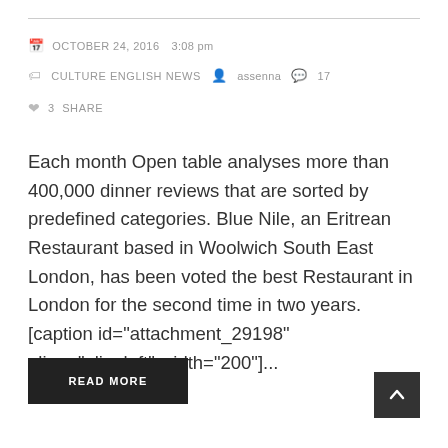OCTOBER 24, 2016  3:08 pm  CULTURE ENGLISH NEWS  assenna  17  3  SHARE
Each month Open table analyses more than 400,000 dinner reviews that are sorted by predefined categories. Blue Nile, an Eritrean Restaurant based in Woolwich South East London, has been voted the best Restaurant in London for the second time in two years. [caption id="attachment_29198" align="alignleft" width="200"]...
READ MORE